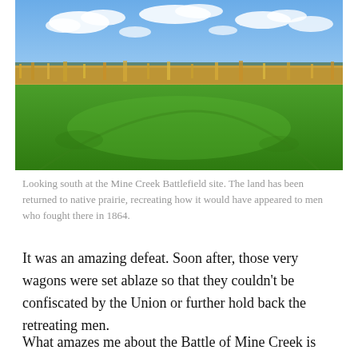[Figure (photo): Photograph looking south at the Mine Creek Battlefield site. A wide green grassy field in the foreground, with tall golden prairie grasses and shrubs in the middle distance, and a flat horizon under a blue sky with scattered white clouds.]
Looking south at the Mine Creek Battlefield site. The land has been returned to native prairie, recreating how it would have appeared to men who fought there in 1864.
It was an amazing defeat. Soon after, those very wagons were set ablaze so that they couldn't be confiscated by the Union or further hold back the retreating men.
What amazes me about the Battle of Mine Creek is the